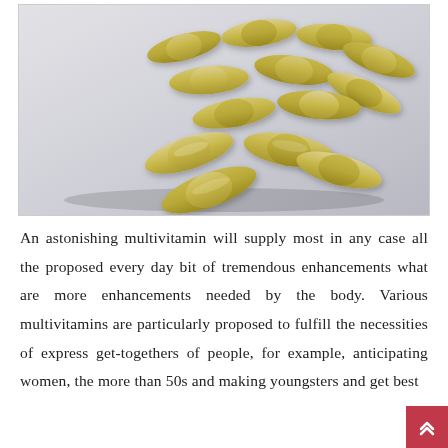[Figure (photo): A group of tan/beige capsule supplement pills scattered on a light gray-white surface, photographed from above at a slight angle.]
An astonishing multivitamin will supply most in any case all the proposed every day bit of tremendous enhancements what are more enhancements needed by the body. Various multivitamins are particularly proposed to fulfill the necessities of express get-togethers of people, for example, anticipating women, the more than 50s and making youngsters and get best